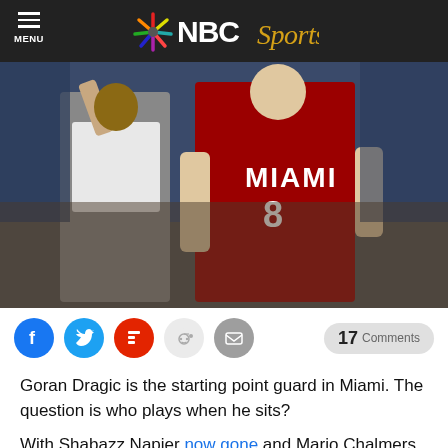MENU | NBC Sports
[Figure (photo): Miami Heat player wearing jersey number 8 running on court, with a referee in the background raising his arm. Player is in a dark red Miami Heat uniform.]
17 Comments
Goran Dragic is the starting point guard in Miami. The question is who plays when he sits?
With Shabazz Napier now gone and Mario Chalmers